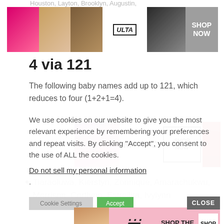[Figure (other): ULTA Beauty advertisement banner with makeup photos, ULTA logo, and SHOP NOW button]
4 via 121
The following baby names add up to 121, which reduces to four (1+2+1=4).
[Figure (other): MAC Cosmetics advertisement with lipsticks and SHOP NOW button]
Tiaraoluwa, Kierstyn, Zonnique, Amarachukwu, Morrison, Cortlynn, Estrellita, Ivylynn
We use cookies on our website to give you the most relevant experience by remembering your preferences and repeat visits. By clicking “Accept”, you consent to the use of ALL the cookies.
Do not sell my personal information.
[Figure (other): Victoria's Secret advertisement with SHOP THE COLLECTION and SHOP NOW button]
CLOSE